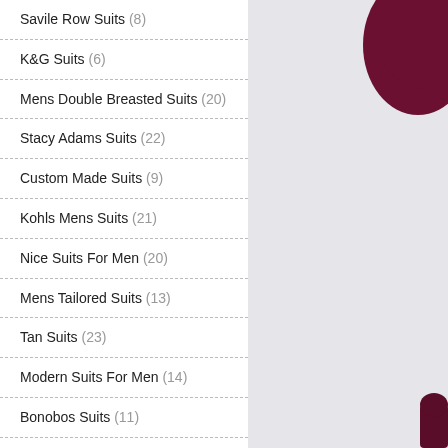Savile Row Suits (8)
K&G Suits (6)
Mens Double Breasted Suits (20)
Stacy Adams Suits (22)
Custom Made Suits (9)
Kohls Mens Suits (21)
Nice Suits For Men (20)
Mens Tailored Suits (13)
Tan Suits (23)
Modern Suits For Men (14)
Bonobos Suits (11)
Luxury Suits (16)
Mens Custom Suits (11)
Perry Ellis Suits (31)
Dillards Mens Suits (19)
Mens Fashion Suits (9)
[Figure (photo): Product photo area showing a dark maroon/burgundy suit or clothing item on a light grey background]